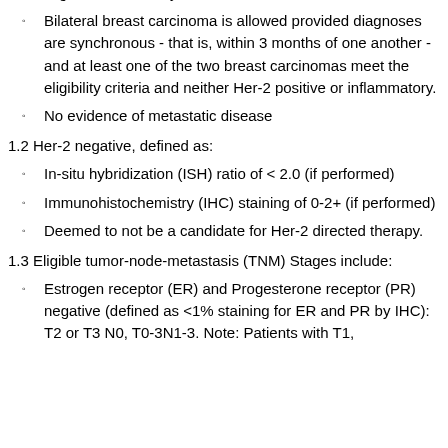eligible for the study.
Bilateral breast carcinoma is allowed provided diagnoses are synchronous - that is, within 3 months of one another - and at least one of the two breast carcinomas meet the eligibility criteria and neither Her-2 positive or inflammatory.
No evidence of metastatic disease
1.2 Her-2 negative, defined as:
In-situ hybridization (ISH) ratio of < 2.0 (if performed)
Immunohistochemistry (IHC) staining of 0-2+ (if performed)
Deemed to not be a candidate for Her-2 directed therapy.
1.3 Eligible tumor-node-metastasis (TNM) Stages include:
Estrogen receptor (ER) and Progesterone receptor (PR) negative (defined as <1% staining for ER and PR by IHC): T2 or T3 N0, T0-3N1-3. Note: Patients with T1,